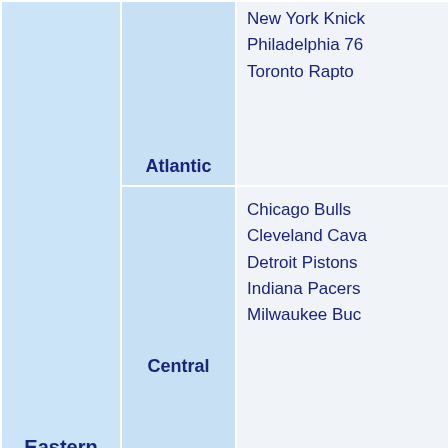| Conference | Division | Teams |
| --- | --- | --- |
| Eastern Conference | Atlantic | New York Knicks
Philadelphia 76ers
Toronto Raptors |
| Eastern Conference | Central | Chicago Bulls
Cleveland Cavaliers
Detroit Pistons
Indiana Pacers
Milwaukee Bucks |
| Eastern Conference | Southeast | Atlanta Hawks
Charlotte Hornets
Miami Heat
Orlando Magic
Washington Wizards |
| Western Conference |  | Denver Nuggets
Minnesota Timberwolves |